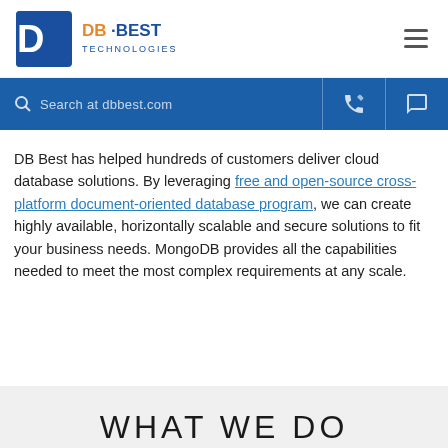[Figure (logo): DB Best Technologies logo — blue stylized DB icon with orange and blue text reading 'DB·BEST TECHNOLOGIES']
Search at dbbest.com
DB Best has helped hundreds of customers deliver cloud database solutions. By leveraging free and open-source cross-platform document-oriented database program, we can create highly available, horizontally scalable and secure solutions to fit your business needs. MongoDB provides all the capabilities needed to meet the most complex requirements at any scale.
WHAT WE DO